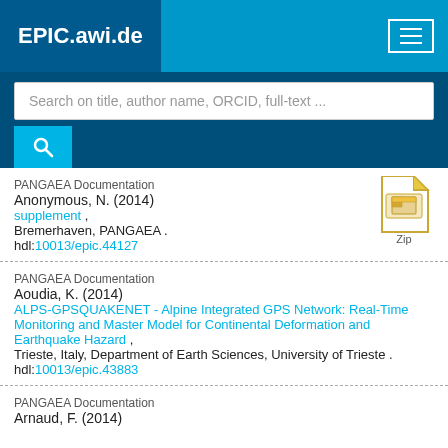EPIC.awi.de
Search on title, author name, ORCID, full-text ...
PANGAEA Documentation
Anonymous, N. (2014)
supplement ,
Bremerhaven, PANGAEA .
hdl:10013/epic.44127
PANGAEA Documentation
Aoudia, K. (2014)
ALPS-GPSQUAKENET - Alpine Integrated GPS Network: Real-Time Monitoring and Master Model for Continental Deformation and Earthquake Hazard ,
Trieste, Italy, Department of Earth Sciences, University of Trieste .
hdl:10013/epic.43883
PANGAEA Documentation
Arnaud, F. (2014)